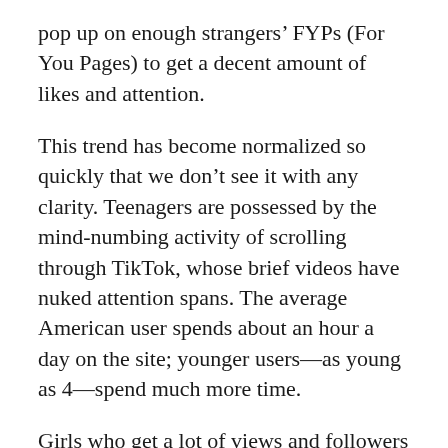pop up on enough strangers' FYPs (For You Pages) to get a decent amount of likes and attention.
This trend has become normalized so quickly that we don't see it with any clarity. Teenagers are possessed by the mind-numbing activity of scrolling through TikTok, whose brief videos have nuked attention spans. The average American user spends about an hour a day on the site; younger users—as young as 4—spend much more time.
Girls who get a lot of views and followers are held up as models and develop obsessive